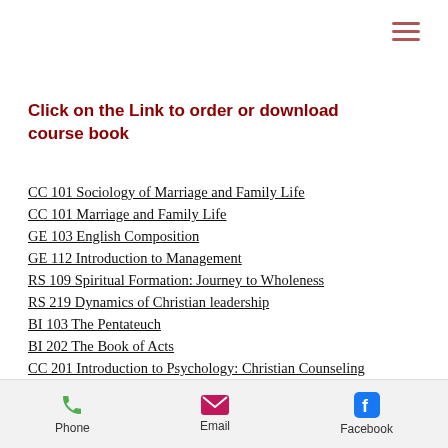Click on the Link to order or download course book
CC 101 Sociology of Marriage and Family Life
CC 101 Marriage and Family Life
GE 103 English Composition
GE 112 Introduction to Management
RS 109 Spiritual Formation: Journey to Wholeness
RS 219 Dynamics of Christian leadership
BI 103 The Pentateuch
BI 202 The Book of Acts
CC 201 Introduction to Psychology: Christian Counseling Perspectives
GE 220 Financial Integrity and Stewardship
Phone   Email   Facebook